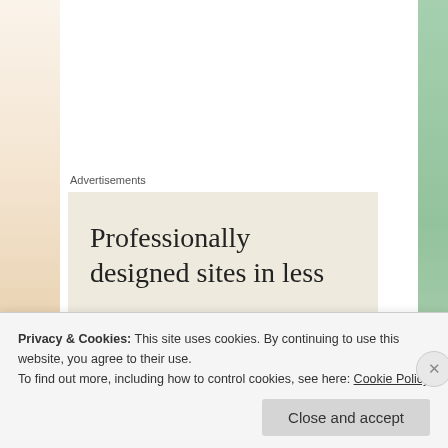Advertisements
[Figure (other): Advertisement banner with text 'Professionally designed sites in less' on a beige/cream background]
Ammo   October 9, 2014 at 7:13 pm
Amazing, Glad to connect with you!
Privacy & Cookies: This site uses cookies. By continuing to use this website, you agree to their use.
To find out more, including how to control cookies, see here: Cookie Policy
Close and accept